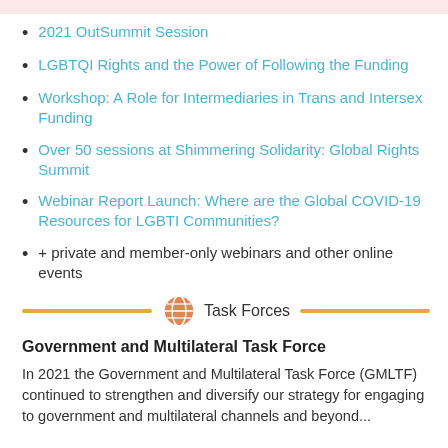2021 OutSummit Session
LGBTQI Rights and the Power of Following the Funding
Workshop: A Role for Intermediaries in Trans and Intersex Funding
Over 50 sessions at Shimmering Solidarity: Global Rights Summit
Webinar Report Launch: Where are the Global COVID-19 Resources for LGBTI Communities?
+ private and member-only webinars and other online events
Task Forces
Government and Multilateral Task Force
In 2021 the Government and Multilateral Task Force (GMLTF) continued to strengthen and diversify our strategy for engaging to government and multilateral channels and beyond...